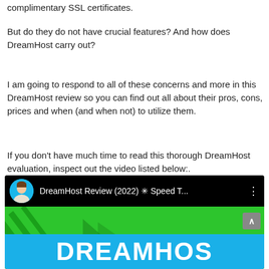complimentary SSL certificates.
But do they do not have crucial features? And how does DreamHost carry out?
I am going to respond to all of these concerns and more in this DreamHost review so you can find out all about their pros, cons, prices and when (and when not) to utilize them.
If you don’t have much time to read this thorough DreamHost evaluation, inspect out the video listed below:.
[Figure (screenshot): YouTube video thumbnail screenshot showing DreamHost Review (2022) with speed test title, avatar of a man, and DreamHost logo on green background]